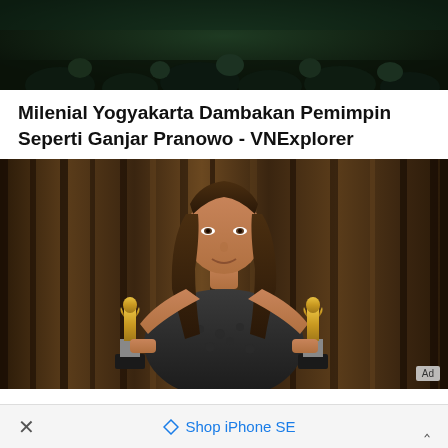[Figure (photo): Dark crowd/audience scene, dark green/teal tones]
Milenial Yogyakarta Dambakan Pemimpin Seperti Ganjar Pranowo - VNExplorer
[Figure (photo): Woman holding two Oscar statuettes in both hands, standing in front of metallic curtains. Ad badge visible in bottom right corner.]
The First Woman To Ever Win An Academy Award For Best Director
× Shop iPhone SE ^